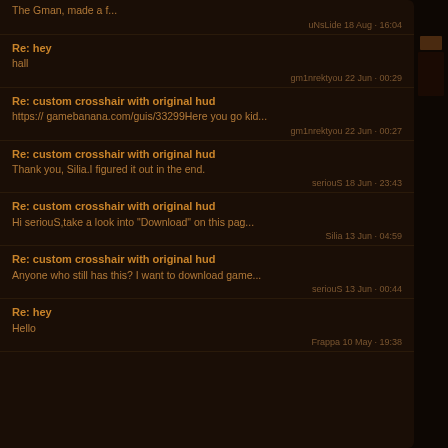The Gman, made a f...
uNsLide 18 Aug · 16:04
Re: hey
hall
gm1nrektyou 22 Jun · 00:29
Re: custom crosshair with original hud
https:// gamebanana.com/guis/33299Here you go kid...
gm1nrektyou 22 Jun · 00:27
Re: custom crosshair with original hud
Thank you, Silia.I figured it out in the end.
serious 18 Jun · 23:43
Re: custom crosshair with original hud
Hi serious,take a look into "Download" on this pag...
Silia 13 Jun · 04:59
Re: custom crosshair with original hud
Anyone who still has this? I want to download game...
serious 13 Jun · 00:44
Re: hey
Hello
Frappa 10 May · 19:38